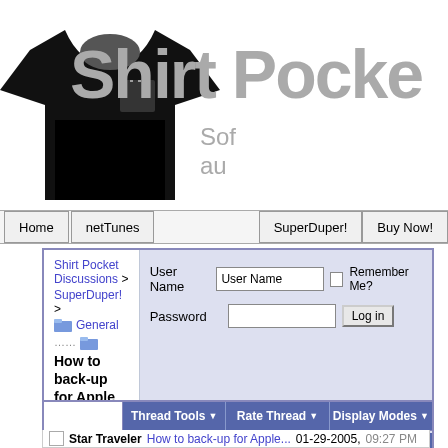[Figure (logo): Shirt Pocket software logo: black t-shirt with dotted pocket, large gray 'Shirt Pocket' text, subtitle 'Software you actually want']
[Figure (screenshot): Navigation bar with Home, netTunes, SuperDuper!, Buy Now! links]
[Figure (screenshot): Forum panel with breadcrumb navigation (Shirt Pocket Discussions > SuperDuper! > General > How to back-up for Apple Upgrade) and login form (User Name, Password, Remember Me?, Log in button), with tabs FAQ, Community, Calendar, Today's Posts, Search]
[Figure (screenshot): Thread tools bar with Thread Tools, Rate Thread, Display Modes buttons]
Star Traveler How to back-up for Apple... 01-29-2005, 09:27 PM